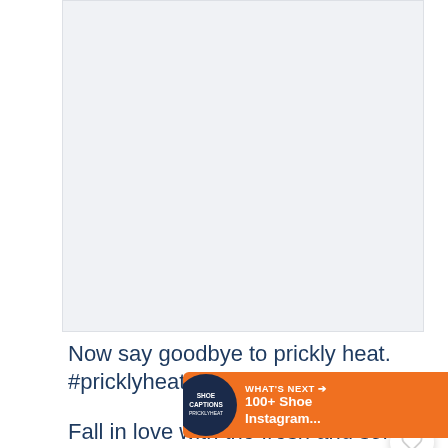[Figure (photo): Light gray rectangular image placeholder area at top of page]
Now say goodbye to prickly heat.
#pricklyheat
Fall in love with the fresh and soft skin.
Don't let the heat worry you.
#byebyeheat
Smell good at all times. Use our powder.